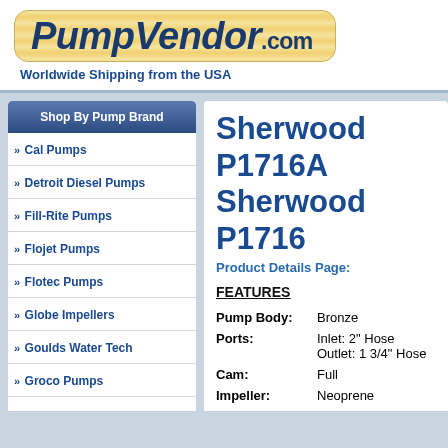[Figure (logo): PumpVendor.com logo with orange/yellow striped background and dark blue italic bold text]
Worldwide Shipping from the USA
Shop By Pump Brand
Cal Pumps
Detroit Diesel Pumps
Fill-Rite Pumps
Flojet Pumps
Flotec Pumps
Globe Impellers
Goulds Water Tech
Groco Pumps
Sherwood P1716A / Sherwood P1716
Product Details Page:
FEATURES
| Feature | Value |
| --- | --- |
| Pump Body: | Bronze |
| Ports: | Inlet: 2" Hose
Outlet: 1 3/4" Hose |
| Cam: | Full |
| Impeller: | Neoprene |
| Shaft Seal: | Mechanical |
| Drive: | Flange Mounted to Engine. |